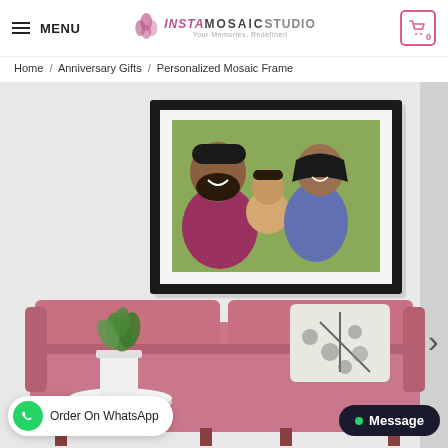MENU | InstaMosaicStudio | Cart 0
Home / Anniversary Gifts / Personalized Mosaic Frame
[Figure (photo): Product page photo showing a personalized mosaic photo frame hung on a white wall above a rose-pink sofa with a decorative pillow and a potted plant on a small round side table. The framed mosaic shows a family of three — a man, woman, and young child — in a black photo frame.]
Order On WhatsApp
Message